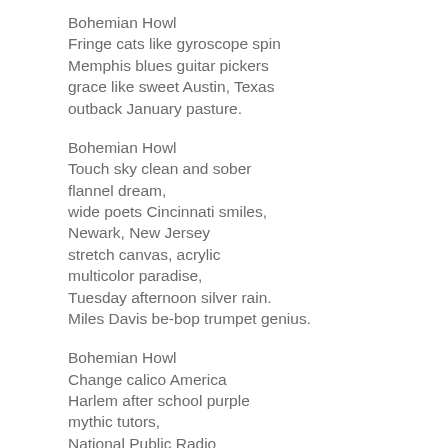Bohemian Howl
Fringe cats like gyroscope spin
Memphis blues guitar pickers
grace like sweet Austin, Texas
outback January pasture.
Bohemian Howl
Touch sky clean and sober
flannel dream,
wide poets Cincinnati smiles,
Newark, New Jersey
stretch canvas, acrylic
multicolor paradise,
Tuesday afternoon silver rain.
Miles Davis be-bop trumpet genius.
Bohemian Howl
Change calico America
Harlem after school purple
mythic tutors,
National Public Radio
morning Burlington, Vermont